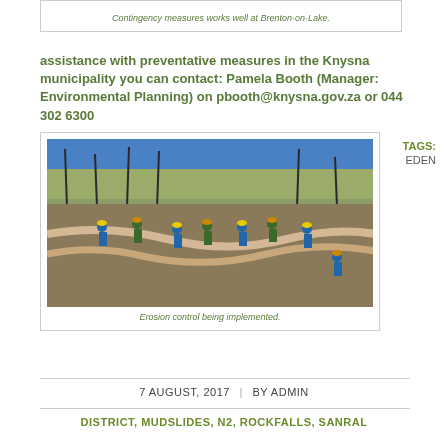Contingency measures works well at Brenton-on-Lake.
assistance with preventative measures in the Knysna municipality you can contact: Pamela Booth (Manager: Environmental Planning) on pbooth@knysna.gov.za or 044 302 6300
[Figure (photo): Workers implementing erosion control on a hillside after a fire, using large hoses/tubes, wearing blue and green protective clothing and hard hats.]
Erosion control being implemented.
TAGS: EDEN
7 AUGUST, 2017 | BY ADMIN
DISTRICT, MUDSLIDES, N2, ROCKFALLS, SANRAL